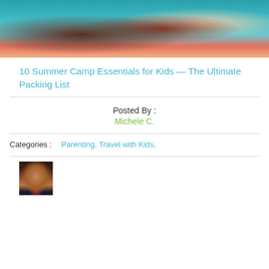[Figure (photo): Two children peeking out of a colorful tent, one holding a banana, with teal and orange tent fabric visible]
10 Summer Camp Essentials for Kids — The Ultimate Packing List
Posted By :
Michele C.
Categories :   Parenting, Travel with Kids,
[Figure (photo): Headshot of a woman with dark brown bob haircut, smiling, wearing a dark top]